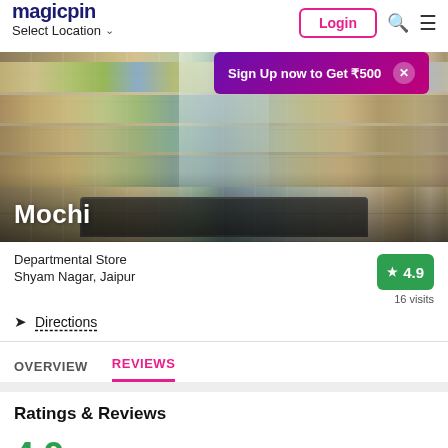magicpin | Select Location | Login
[Figure (photo): Interior of a supermarket/departmental store showing product-stocked shelves on both sides with a shopping cart in the foreground, perspective view down the aisle. Store name 'Mochi' overlaid at bottom left.]
Sign Up now to Get ₹500
Departmental Store
Shyam Nagar, Jaipur
★ 4.9
16 visits
Directions
OVERVIEW  REVIEWS
Ratings & Reviews
4.9